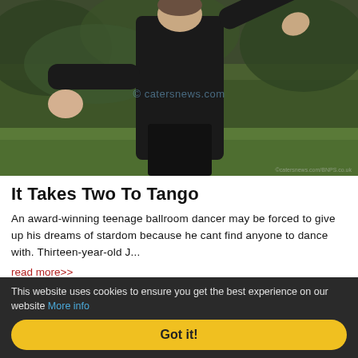[Figure (photo): A teenage boy in a black long-sleeve shirt dancing outdoors in a garden, arms outstretched. Watermark 'catersnews.com' visible in center.]
It Takes Two To Tango
An award-winning teenage ballroom dancer may be forced to give up his dreams of stardom because he cant find anyone to dance with. Thirteen-year-old J...
read more>>
[Figure (photo): Partial view of another photo below the article section, showing a person with blonde hair.]
This website uses cookies to ensure you get the best experience on our website More info
Got it!